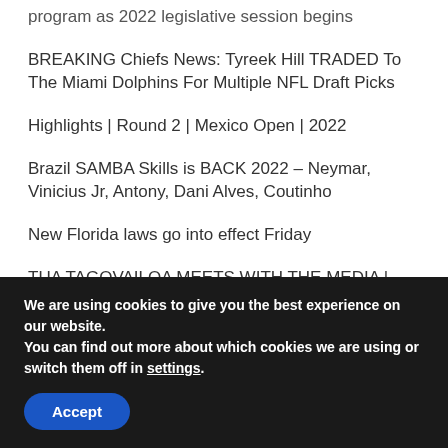program as 2022 legislative session begins
BREAKING Chiefs News: Tyreek Hill TRADED To The Miami Dolphins For Multiple NFL Draft Picks
Highlights | Round 2 | Mexico Open | 2022
Brazil SAMBA Skills is BACK 2022 – Neymar, Vinicius Jr, Antony, Dani Alves, Coutinho
New Florida laws go into effect Friday
TUA TAGOVAILOA MEETS WITH THE MEDIA | TRAINING CAMP | JULY 27, 2022
Video shows moment Mexico City metro overpass collapses
We are using cookies to give you the best experience on our website.
You can find out more about which cookies we are using or switch them off in settings.
Accept